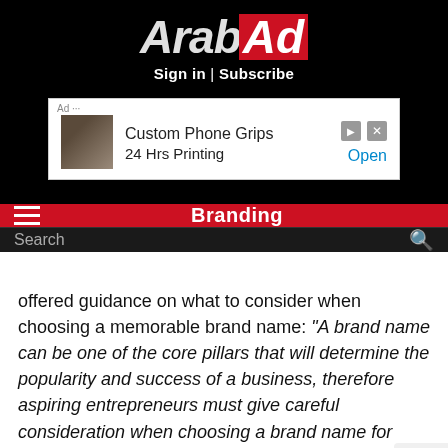[Figure (logo): ArabAd logo - white text 'Arab' followed by red box with white 'Ad' text]
Sign in | Subscribe
[Figure (screenshot): Advertisement banner: Custom Phone Grips, 24 Hrs Printing, Open]
Branding
Search
offered guidance on what to consider when choosing a memorable brand name: “A brand name can be one of the core pillars that will determine the popularity and success of a business, therefore aspiring entrepreneurs must give careful consideration when choosing a brand name for their new business. There are some fundamentals they need to be
[Figure (infographic): Social sharing bar with Facebook, Twitter, Pinterest, WhatsApp, Viber buttons]